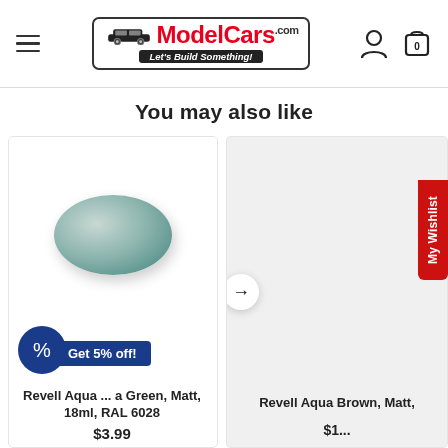[Figure (logo): ModelCars.com logo with toy car illustration and tagline 'Let's Build Something!']
You may also like
[Figure (photo): Oval paint swatch in muted sage/aqua green color representing Revell Aqua paint]
Get 5% off!
Revell Aqua ... a Green, Matt, 18ml, RAL 6028
$3.99
Revell Aqua Brown, Matt,
$1...